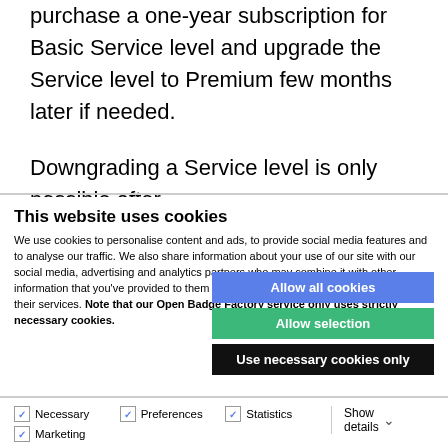purchase a one-year subscription for Basic Service level and upgrade the Service level to Premium few months later if needed.
Downgrading a Service level is only possible after
This website uses cookies
We use cookies to personalise content and ads, to provide social media features and to analyse our traffic. We also share information about your use of our site with our social media, advertising and analytics partners who may combine it with other information that you've provided to them or that they've collected from your use of their services. Note that our Open Badge Factory service only uses strictly necessary cookies.
Allow all cookies
Allow selection
Use necessary cookies only
Necessary
Preferences
Statistics
Marketing
Show details